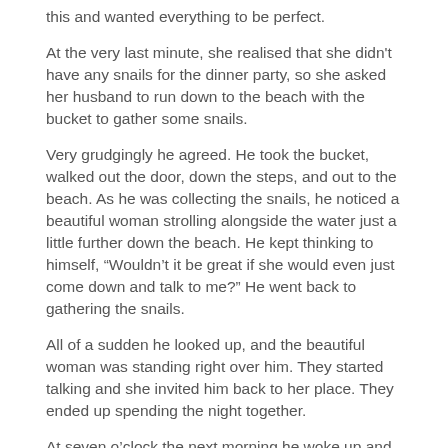this and wanted everything to be perfect.
At the very last minute, she realised that she didn't have any snails for the dinner party, so she asked her husband to run down to the beach with the bucket to gather some snails.
Very grudgingly he agreed. He took the bucket, walked out the door, down the steps, and out to the beach. As he was collecting the snails, he noticed a beautiful woman strolling alongside the water just a little further down the beach. He kept thinking to himself, “Wouldn’t it be great if she would even just come down and talk to me?” He went back to gathering the snails.
All of a sudden he looked up, and the beautiful woman was standing right over him. They started talking and she invited him back to her place. They ended up spending the night together.
At seven o’clock the next morning he woke up and exclaimed, “Oh no!!! My wife’s dinner party!!!”. He gathered